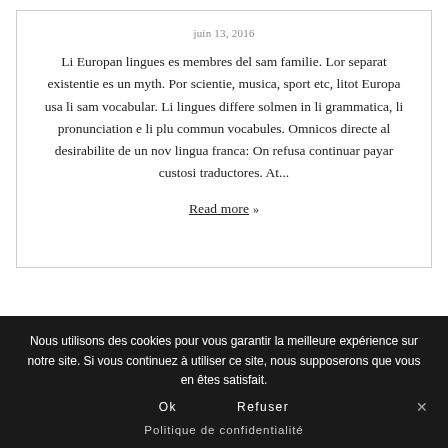juin 13, 2016
Li Europan lingues es membres del sam familie. Lor separat existentie es un myth. Por scientie, musica, sport etc, litot Europa usa li sam vocabular. Li lingues differe solmen in li grammatica, li pronunciation e li plu commun vocabules. Omnicos directe al desirabilite de un nov lingua franca: On refusa continuar payar custosi traductores. At...
Read more »
Nous utilisons des cookies pour vous garantir la meilleure expérience sur notre site. Si vous continuez à utiliser ce site, nous supposerons que vous en êtes satisfait.
Ok
Refuser
Politique de confidentialité